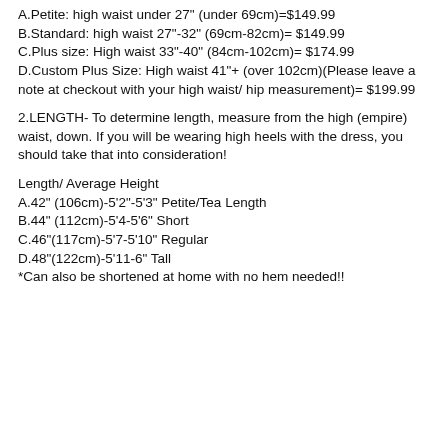A.Petite: high waist under 27" (under 69cm)=$149.99
B.Standard: high waist 27"-32" (69cm-82cm)= $149.99
C.Plus size: High waist 33"-40" (84cm-102cm)= $174.99
D.Custom Plus Size: High waist 41"+ (over 102cm)(Please leave a note at checkout with your high waist/ hip measurement)= $199.99
2.LENGTH- To determine length, measure from the high (empire) waist, down. If you will be wearing high heels with the dress, you should take that into consideration!
Length/ Average Height
A.42" (106cm)-5'2"-5'3" Petite/Tea Length
B.44" (112cm)-5'4-5'6" Short
C.46"(117cm)-5'7-5'10" Regular
D.48"(122cm)-5'11-6" Tall
*Can also be shortened at home with no hem needed!!